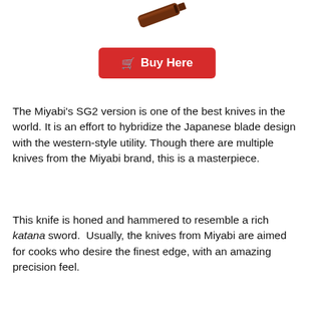[Figure (photo): Partial view of a knife handle, brown/rosewood, at the top of the page]
Buy Here
The Miyabi's SG2 version is one of the best knives in the world. It is an effort to hybridize the Japanese blade design with the western-style utility. Though there are multiple knives from the Miyabi brand, this is a masterpiece.
This knife is honed and hammered to resemble a rich katana sword.  Usually, the knives from Miyabi are aimed for cooks who desire the finest edge, with an amazing precision feel.
With brass spacers, rich Damascus-style markings, and attractive rosewood handle, this Miyabi knife looks stunning. While the knife has a delicate and light feel, the overall frilly look makes it dainty. The edges are ridiculously sharp. The blade is sharp enough